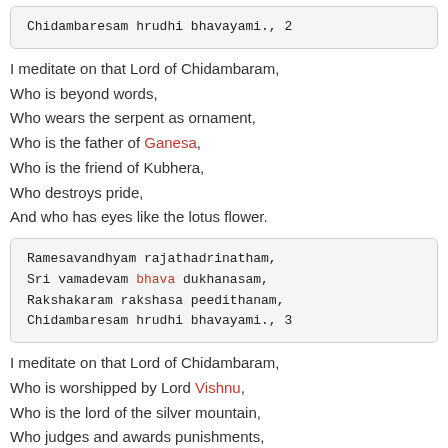Chidambaresam hrudhi bhavayami., 2
I meditate on that Lord of Chidambaram,
Who is beyond words,
Who wears the serpent as ornament,
Who is the father of Ganesa,
Who is the friend of Kubhera,
Who destroys pride,
And who has eyes like the lotus flower.
Ramesavandhyam rajathadrinatham,
Sri vamadevam bhava dukhanasam,
Rakshakaram rakshasa peedithanam,
Chidambaresam hrudhi bhavayami., 3
I meditate on that Lord of Chidambaram,
Who is worshipped by Lord Vishnu,
Who is the lord of the silver mountain,
Who judges and awards punishments,
Who destroys the sorrow of the future,
And who protects those troubled by rakshasas.